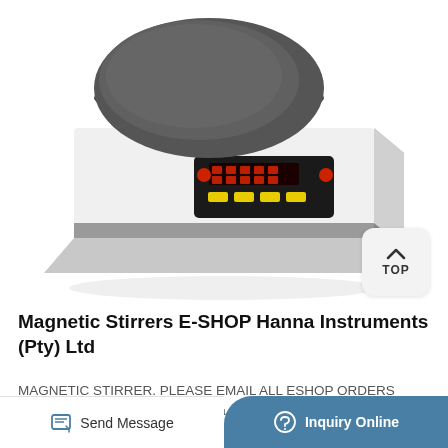[Figure (photo): A magnetic stirrer laboratory instrument with a dark gray circular plate on top, white body, black digital control panel with red buttons and yellow buttons, viewed from a slight angle on white background]
Magnetic Stirrers E-SHOP Hanna Instruments (Pty) Ltd
MAGNETIC STIRRER. PLEASE EMAIL ALL ESHOP ORDERS DIRECTLY TO shop@hanna.co.za. Magnetic Stirrers.